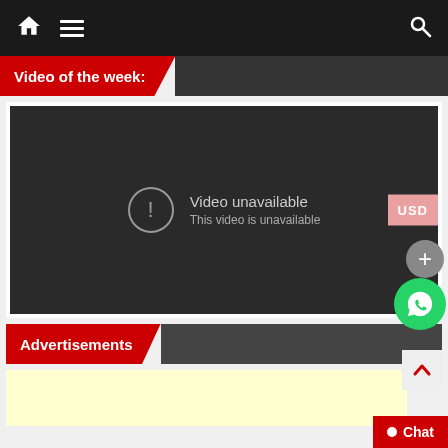[Figure (screenshot): Navigation bar with home icon, hamburger menu icon on the left and search icon on the right, dark background]
Video of the week:
[Figure (screenshot): Embedded video player showing 'Video unavailable – This video is unavailable' error message on dark background]
Advertisements